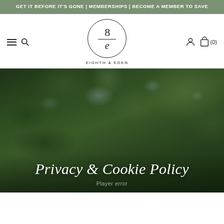GET IT BEFORE IT'S GONE | MEMBERSHIPS | BECOME A MEMBER TO SAVE
[Figure (logo): Eighth & Eden logo — circle with stylized '8' over 'e' with a dividing line, text 'EIGHTH & EDEN' below]
[Figure (photo): Dark overhead photo of tree canopy with sky visible through foliage]
Privacy & Cookie Policy
Player error